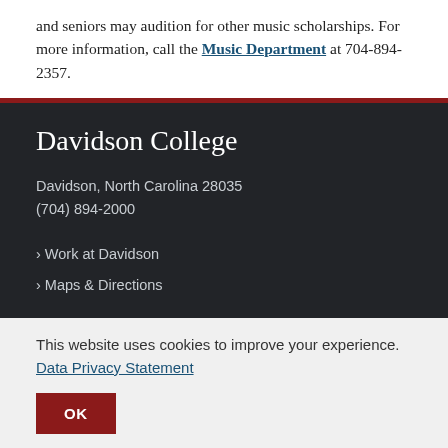and seniors may audition for other music scholarships. For more information, call the Music Department at 704-894-2357.
Davidson College
Davidson, North Carolina 28035
(704) 894-2000
> Work at Davidson
> Maps & Directions
This website uses cookies to improve your experience. Data Privacy Statement
OK